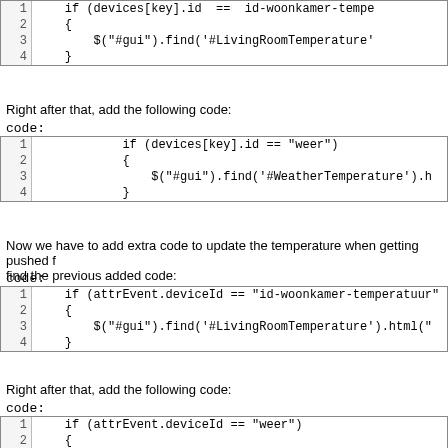[Figure (screenshot): Code block showing lines 1-4: if (devices[key].id == id-woonkamer-tempe... { $("#gui").find('#LivingRoomTemperature'... }]
Right after that, add the following code:
code:
[Figure (screenshot): Code block lines 1-4: if (devices[key].id == "weer") { $("#gui").find('#WeatherTemperature').h... }]
Now we have to add extra code to update the temperature when getting pushed f... find the previous added code:
code:
[Figure (screenshot): Code block lines 1-4: if (attrEvent.deviceId == "id-woonkamer-temperatuur"... { $("#gui").find('#LivingRoomTemperature').html("... }]
Right after that, add the following code:
code:
[Figure (screenshot): Code block lines 1-2 (partial): if (attrEvent.deviceId == "weer") {]